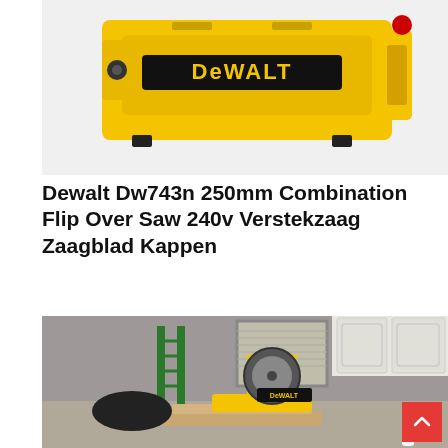[Figure (photo): DeWalt yellow combination flip over saw / miter saw product photo on white background]
Dewalt Dw743n 250mm Combination Flip Over Saw 240v Verstekzaag Zaagblad Kappen
[Figure (photo): DeWalt miter saw set up in a garage room on wooden pallet, with green ladder and white cabinets in background]